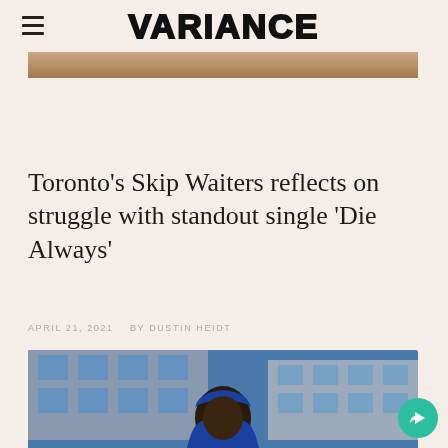VARIANCE
[Figure (photo): Partial top portion of a photo showing blurred figures with warm brown tones, cropped at the top of the page]
Toronto’s Skip Waiters reflects on struggle with standout single ‘Die Always’
APRIL 21, 2021    BY DUSTIN HEIDT
[Figure (photo): Photo of a young Black man wearing a blue hoodie, looking upward at the camera, with a large city building with blue-tinted windows visible in the background. Urban street scene.]